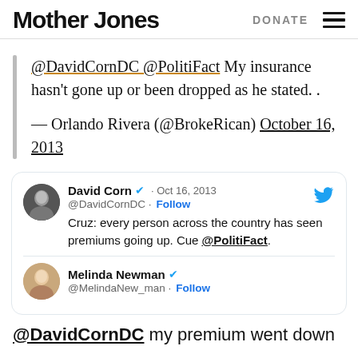Mother Jones | DONATE
@DavidCornDC @PolitiFact My insurance hasn't gone up or been dropped as he stated. . — Orlando Rivera (@BrokeRican) October 16, 2013
[Figure (screenshot): Embedded tweet from David Corn (@DavidCornDC) dated Oct 16, 2013: 'Cruz: every person across the country has seen premiums going up. Cue @PolitiFact.' With a reply from Melinda Newman (@MelindaNew_man) with Follow button.]
@DavidCornDC my premium went down substantially...